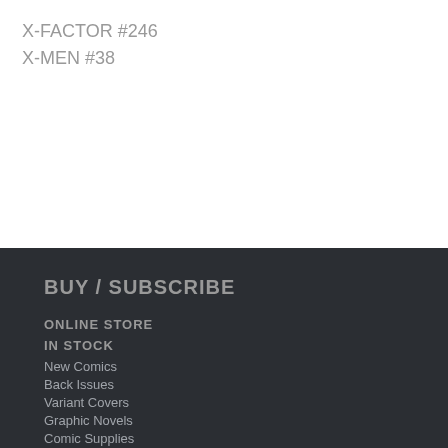X-FACTOR #246
X-MEN #38
BUY / SUBSCRIBE
ONLINE STORE
IN STOCK
New Comics
Back Issues
Variant Covers
Graphic Novels
Comic Supplies
SUBSCRIBE
Ongoing Subscriptions